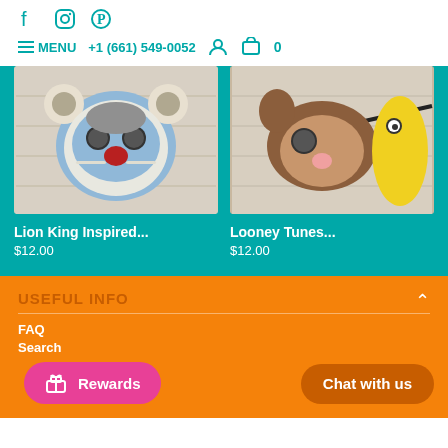Social icons: Facebook, Instagram, Pinterest | MENU | +1 (661) 549-0052 | User icon | Cart 0
[Figure (photo): Lion King inspired felt mask in blue/grey/red tones on white wood background]
[Figure (photo): Looney Tunes inspired felt mask in brown/pink with yellow element on white wood background]
Lion King Inspired...
$12.00
Looney Tunes...
$12.00
USEFUL INFO
FAQ
Search
Rewards
Chat with us